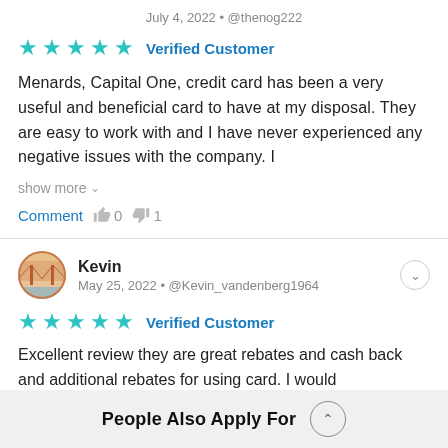July 4, 2022 • @thenog222
★★★★★  Verified Customer
Menards, Capital One, credit card has been a very useful and beneficial card to have at my disposal. They are easy to work with and I have never experienced any negative issues with the company. I
show more ∨
Comment  👍 0  👎 1
Kevin
May 25, 2022 • @Kevin_vandenberg1964
★★★★★  Verified Customer
Excellent review they are great rebates and cash back and additional rebates for using card. I would
People Also Apply For